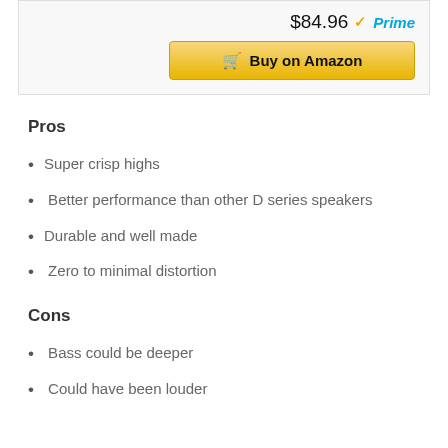$84.96 Prime Buy on Amazon
Pros
Super crisp highs
Better performance than other D series speakers
Durable and well made
Zero to minimal distortion
Cons
Bass could be deeper
Could have been louder